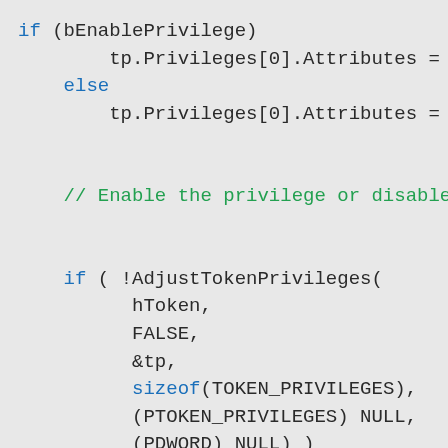if (bEnablePrivilege)
        tp.Privileges[0].Attributes = SE_
    else
        tp.Privileges[0].Attributes = 0;

    // Enable the privilege or disable al

    if ( !AdjustTokenPrivileges(
          hToken,
          FALSE,
          &tp,
          sizeof(TOKEN_PRIVILEGES),
          (PTOKEN_PRIVILEGES) NULL,
          (PDWORD) NULL) )
    {
          printf("AdjustTokenPrivileges err